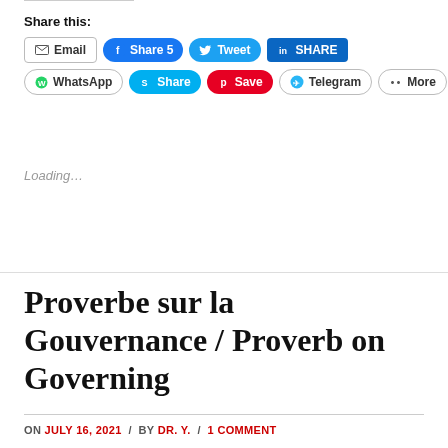Share this:
[Figure (screenshot): Social sharing buttons row 1: Email, Share 5 (Facebook), Tweet (Twitter), SHARE (LinkedIn)]
[Figure (screenshot): Social sharing buttons row 2: WhatsApp, Share (Skype), Save (Pinterest), Telegram, More]
Loading...
Proverbe sur la Gouvernance / Proverb on Governing
ON JULY 16, 2021 / BY DR. Y. / 1 COMMENT